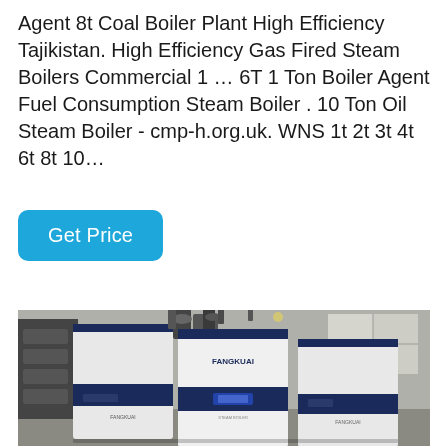Agent 8t Coal Boiler Plant High Efficiency Tajikistan. High Efficiency Gas Fired Steam Boilers Commercial 1 … 6T 1 Ton Boiler Agent Fuel Consumption Steam Boiler . 10 Ton Oil Steam Boiler - cmp-h.org.uk. WNS 1t 2t 3t 4t 6t 8t 10…
Get Price
[Figure (photo): Industrial boiler units manufactured by Fangkuai (brand visible on units), showing multiple large white and navy blue colored steam boilers installed in an industrial facility with concrete flooring and windows in the background.]